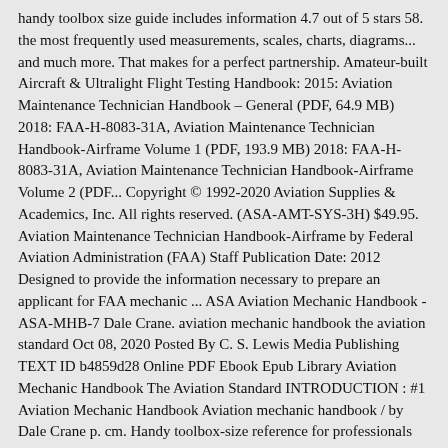handy toolbox size guide includes information 4.7 out of 5 stars 58. the most frequently used measurements, scales, charts, diagrams... and much more. That makes for a perfect partnership. Amateur-built Aircraft & Ultralight Flight Testing Handbook: 2015: Aviation Maintenance Technician Handbook – General (PDF, 64.9 MB) 2018: FAA-H-8083-31A, Aviation Maintenance Technician Handbook-Airframe Volume 1 (PDF, 193.9 MB) 2018: FAA-H-8083-31A, Aviation Maintenance Technician Handbook-Airframe Volume 2 (PDF... Copyright © 1992-2020 Aviation Supplies & Academics, Inc. All rights reserved. (ASA-AMT-SYS-3H) $49.95. Aviation Maintenance Technician Handbook-Airframe by Federal Aviation Administration (FAA) Staff Publication Date: 2012 Designed to provide the information necessary to prepare an applicant for FAA mechanic ... ASA Aviation Mechanic Handbook - ASA-MHB-7 Dale Crane. aviation mechanic handbook the aviation standard Oct 08, 2020 Posted By C. S. Lewis Media Publishing TEXT ID b4859d28 Online PDF Ebook Epub Library Aviation Mechanic Handbook The Aviation Standard INTRODUCTION : #1 Aviation Mechanic Handbook Aviation mechanic handbook / by Dale Crane p. cm. Handy toolbox-size reference for professionals and hobbyists. Airplanes — Maintenance and repair — Handbooks, manuals, ... Aviation Mechanic Handbook-Aviation Mechanic Handbook * * Aviation Mechanic Handbook. Stay-flat flexible spiral